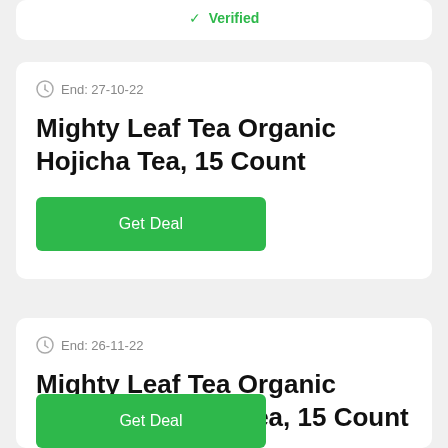✓ Verified
End: 27-10-22
Mighty Leaf Tea Organic Hojicha Tea, 15 Count
Get Deal
End: 26-11-22
Mighty Leaf Tea Organic Coconut Assam Tea, 15 Count
Get Deal